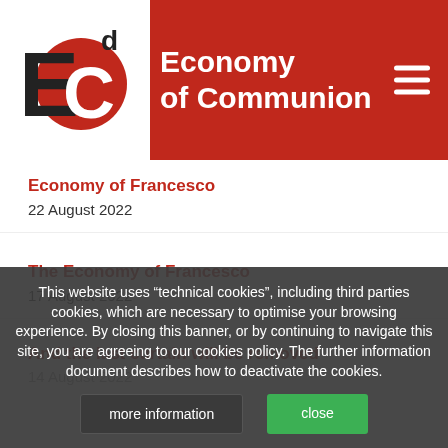Economy of Communion
Economy of Francesco
22 August 2022
The Economy of Francesco
17 August 2022
And the last curtain will be removed
14 August 2022
This website uses “technical cookies”, including third parties cookies, which are necessary to optimise your browsing experience. By closing this banner, or by continuing to navigate this site, you are agreeing to our cookies policy. The further information document describes how to deactivate the cookies.